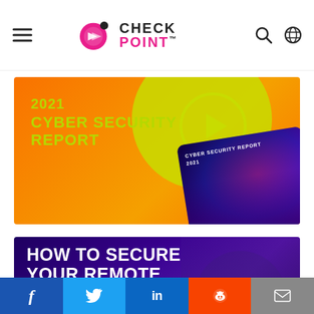Check Point
[Figure (illustration): 2021 Cyber Security Report banner with orange background, yellow-green text, play button circle, and report book image]
[Figure (illustration): How to Secure Your Remote Workforce - 8 Part Video Guide banner with dark purple background and person wearing headphones]